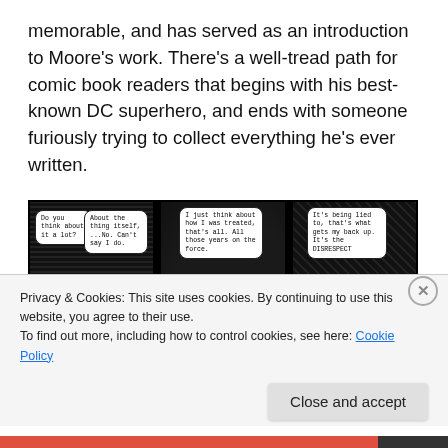memorable, and has served as an introduction to Moore's work. There's a well-tread path for comic book readers that begins with his best-known DC superhero, and ends with someone furiously trying to collect everything he's ever written.
[Figure (illustration): Three black-and-white comic book panels showing silhouetted figures in conversation at night. Panel 1: two figures, speech bubbles reading 'Do you think about it a lot?' and 'About the thing itself, ...No. Can't say I do.' Panel 2: two figures near a car, speech bubble reading 'I just think about how I was treated, that's all. All those years on the force.' Panel 3: figure in hat, speech bubbles reading 'It's being lied to, that's what gets my back up. It's the DISRESPECT' and 'And that's ALL?']
Privacy & Cookies: This site uses cookies. By continuing to use this website, you agree to their use.
To find out more, including how to control cookies, see here: Cookie Policy